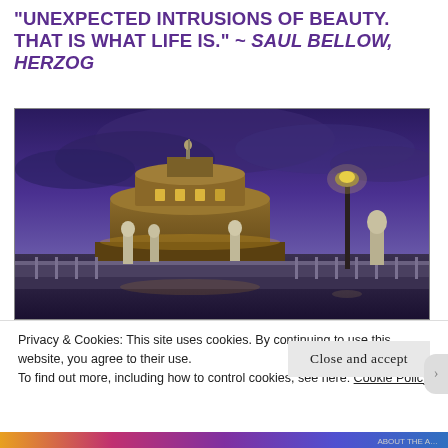“Unexpected intrusions of beauty. That is what life is.” ~ Saul Bellow, Herzog
[Figure (photo): Night/dusk photograph of Castel Sant’Angelo in Rome, with statues on the bridge in the foreground and a street lamp on the right, under a dramatic purple-blue cloudy sky.]
Privacy & Cookies: This site uses cookies. By continuing to use this website, you agree to their use.
To find out more, including how to control cookies, see here: Cookie Policy
Close and accept